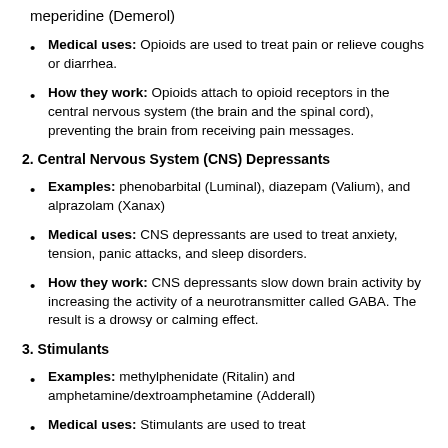meperidine (Demerol)
Medical uses: Opioids are used to treat pain or relieve coughs or diarrhea.
How they work: Opioids attach to opioid receptors in the central nervous system (the brain and the spinal cord), preventing the brain from receiving pain messages.
2. Central Nervous System (CNS) Depressants
Examples: phenobarbital (Luminal), diazepam (Valium), and alprazolam (Xanax)
Medical uses: CNS depressants are used to treat anxiety, tension, panic attacks, and sleep disorders.
How they work: CNS depressants slow down brain activity by increasing the activity of a neurotransmitter called GABA. The result is a drowsy or calming effect.
3. Stimulants
Examples: methylphenidate (Ritalin) and amphetamine/dextroamphetamine (Adderall)
Medical uses: Stimulants are used to treat...and ADHD...